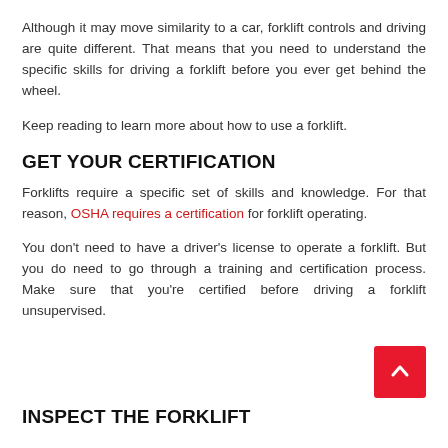Although it may move similarity to a car, forklift controls and driving are quite different. That means that you need to understand the specific skills for driving a forklift before you ever get behind the wheel.
Keep reading to learn more about how to use a forklift.
GET YOUR CERTIFICATION
Forklifts require a specific set of skills and knowledge. For that reason, OSHA requires a certification for forklift operating.
You don't need to have a driver's license to operate a forklift. But you do need to go through a training and certification process. Make sure that you're certified before driving a forklift unsupervised.
INSPECT THE FORKLIFT